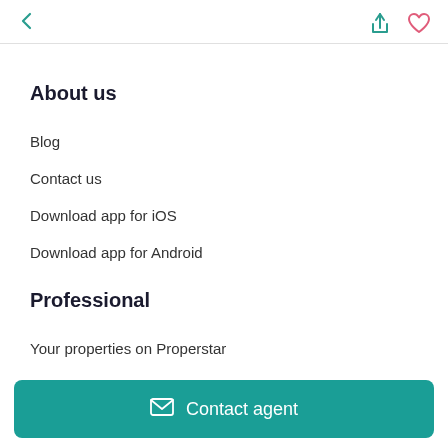← (back) (share) (heart)
About us
Blog
Contact us
Download app for iOS
Download app for Android
Professional
Your properties on Properstar
Contact agent